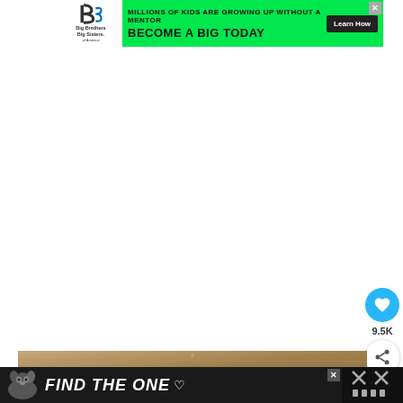[Figure (screenshot): Advertisement banner: Big Brothers Big Sisters of America. Green background with text 'MILLIONS OF KIDS ARE GROWING UP WITHOUT A MENTOR' and 'BECOME A BIG TODAY' with 'Learn How' button. Close button X in top right.]
[Figure (screenshot): White content area - main webpage body, largely blank white space]
[Figure (screenshot): Floating heart/like button in cyan/blue circle with heart icon showing 9.5K likes, and share button below it]
[Figure (screenshot): Bottom image strip showing a tan/brown surface]
[Figure (screenshot): Bottom advertisement banner: dark background with dog image and text 'FIND THE ONE' with heart icon. Close button X visible. Right panel with X marks.]